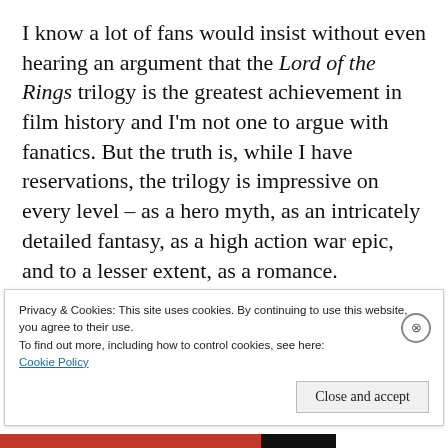I know a lot of fans would insist without even hearing an argument that the Lord of the Rings trilogy is the greatest achievement in film history and I'm not one to argue with fanatics. But the truth is, while I have reservations, the trilogy is impressive on every level – as a hero myth, as an intricately detailed fantasy, as a high action war epic, and to a lesser extent, as a romance.
The Two Towers, based on the middle chapter of J.R.R. Tolkien's...
Privacy & Cookies: This site uses cookies. By continuing to use this website, you agree to their use.
To find out more, including how to control cookies, see here: Cookie Policy